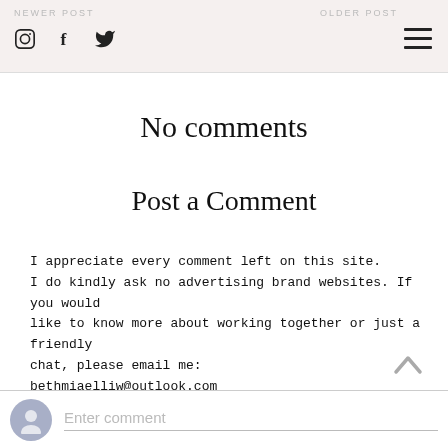NEWER POST   OLDER POST
No comments
Post a Comment
I appreciate every comment left on this site.
I do kindly ask no advertising brand websites. If you would like to know more about working together or just a friendly chat, please email me:
bethmiaelliw@outlook.com
Thank you